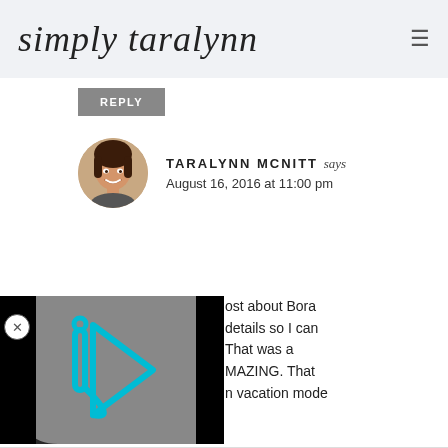simply taralynn
REPLY
TARALYNN MCNITT says
August 16, 2016 at 11:00 pm
[Figure (photo): Circular avatar photo of Taralynn McNitt, a young woman with dark hair, smiling]
[Figure (screenshot): Video player overlay showing a cyan/teal play button icon (letter i inside a play triangle) on a dark grey background with black bars on sides]
post about Bora details so I can That was a MAZING. That n vacation mode
REPLY